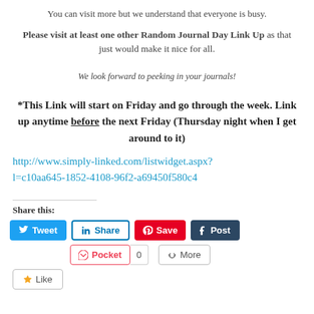You can visit more but we understand that everyone is busy.
Please visit at least one other Random Journal Day Link Up as that just would make it nice for all.
We look forward to peeking in your journals!
*This Link will start on Friday and go through the week. Link up anytime before the next Friday (Thursday night when I get around to it)
http://www.simply-linked.com/listwidget.aspx?l=c10aa645-1852-4108-96f2-a69450f580c4
Share this:
[Figure (infographic): Social sharing buttons: Tweet (Twitter), Share (LinkedIn), Save (Pinterest), Post (Tumblr), Pocket with count 0, More]
[Figure (infographic): Like button]